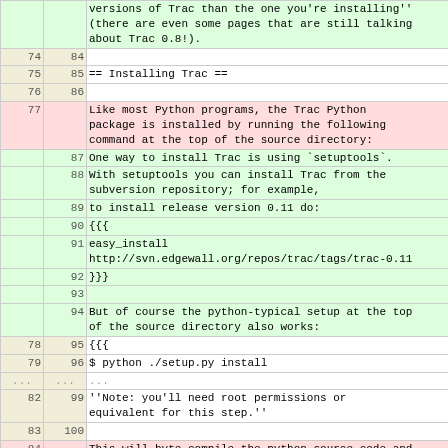| old | new | content |
| --- | --- | --- |
|  |  | versions of Trac than the one you're installing'' (there are even some pages that are still talking about Trac 0.8!). |
| 74 | 84 |  |
| 75 | 85 | == Installing Trac == |
| 76 | 86 |  |
| 77 |  | Like most Python programs, the Trac Python package is installed by running the following command at the top of the source directory: |
|  | 87 | One way to install Trac is using `setuptools`. |
|  | 88 | With setuptools you can install Trac from the subversion repository; for example, |
|  | 89 | to install release version 0.11 do: |
|  | 90 | {{{ |
|  | 91 | easy_install http://svn.edgewall.org/repos/trac/tags/trac-0.11 |
|  | 92 | }}} |
|  | 93 |  |
|  | 94 | But of course the python-typical setup at the top of the source directory also works: |
| 78 | 95 | {{{ |
| 79 | 96 | $ python ./setup.py install |
| ... | ... |  |
| 82 | 99 | ''Note: you'll need root permissions or equivalent for this step.'' |
| 83 | 100 |  |
| 84 |  | This will byte-compile the python source code and install it in the `site-packages` directory of your Python installation. The directories `cgi-bin`, `templates`, `htdocs`, `wiki-default` and `wiki-macros` are all copied to `$prefix/share/trac/`. `conf` and `plugins` stub directories are also created under `$prefix/share/trac/` (''since |
| 85 |  |  |